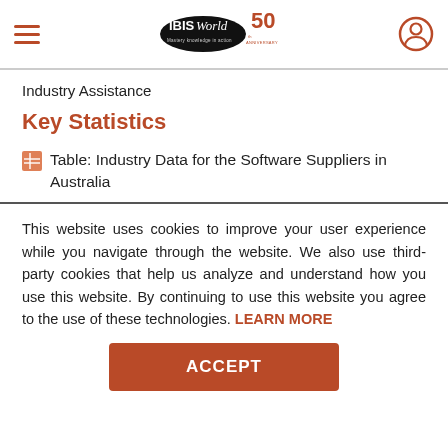IBISWorld 50th Anniversary
Industry Assistance
Key Statistics
Table: Industry Data for the Software Suppliers in Australia
This website uses cookies to improve your user experience while you navigate through the website. We also use third-party cookies that help us analyze and understand how you use this website. By continuing to use this website you agree to the use of these technologies. LEARN MORE
ACCEPT